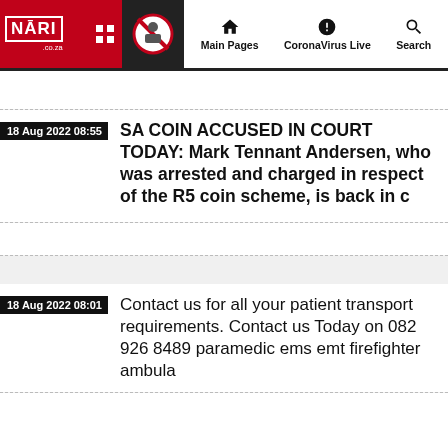NARI.co.za — Main Pages | CoronaVirus Live | Search
18 Aug 2022 08:55
SA COIN ACCUSED IN COURT TODAY: Mark Tennant Andersen, who was arrested and charged in respect of the R5 coin scheme, is back in c
18 Aug 2022 08:01
Contact us for all your patient transport requirements. Contact us Today on 082 926 8489 paramedic ems emt firefighter ambula